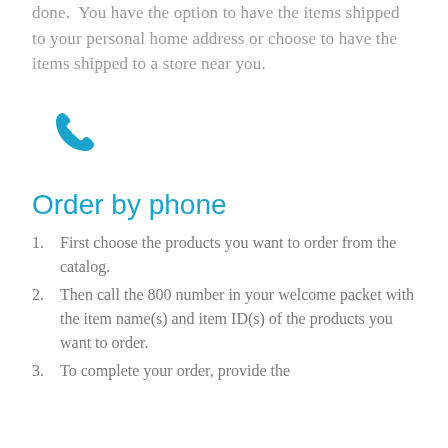done.  You have the option to have the items shipped to your personal home address or choose to have the items shipped to a store near you.
[Figure (illustration): Blue telephone/phone handset icon]
Order by phone
First choose the products you want to order from the catalog.
Then call the 800 number in your welcome packet with the item name(s) and item ID(s) of the products you want to order.
To complete your order, provide the